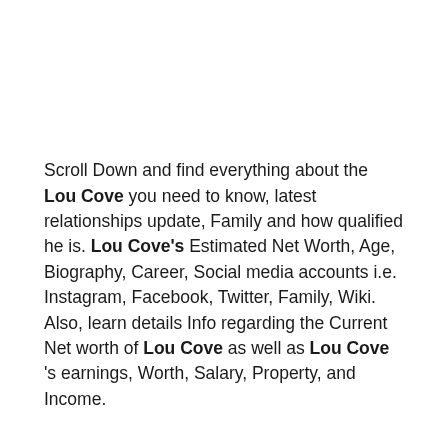Scroll Down and find everything about the Lou Cove you need to know, latest relationships update, Family and how qualified he is. Lou Cove's Estimated Net Worth, Age, Biography, Career, Social media accounts i.e. Instagram, Facebook, Twitter, Family, Wiki. Also, learn details Info regarding the Current Net worth of Lou Cove as well as Lou Cove 's earnings, Worth, Salary, Property, and Income.